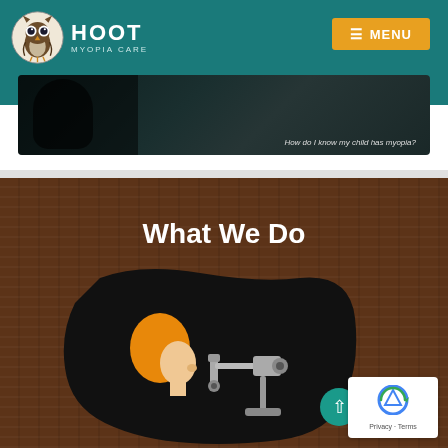HOOT MYOPIA CARE — MENU
[Figure (screenshot): Partial hero image showing a dark overlay with text 'How do I know my child has myopia?']
What We Do
[Figure (illustration): Illustration of a person with orange hair looking through an eye examination slit lamp instrument, on a dark background within a blob shape on a wood-textured background]